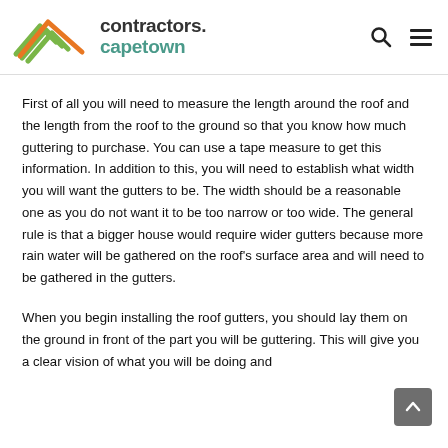contractors.capetown
First of all you will need to measure the length around the roof and the length from the roof to the ground so that you know how much guttering to purchase. You can use a tape measure to get this information. In addition to this, you will need to establish what width you will want the gutters to be. The width should be a reasonable one as you do not want it to be too narrow or too wide. The general rule is that a bigger house would require wider gutters because more rain water will be gathered on the roof's surface area and will need to be gathered in the gutters.
When you begin installing the roof gutters, you should lay them on the ground in front of the part you will be guttering. This will give you a clear vision of what you will be doing and